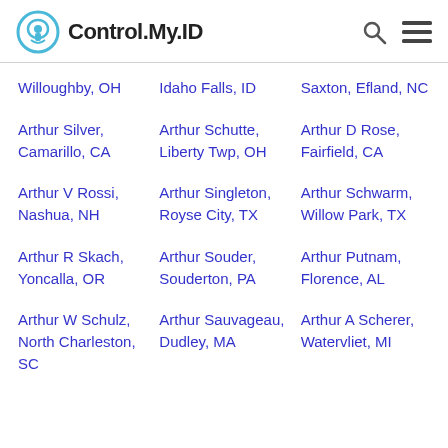Control.My.ID
Willoughby, OH
Idaho Falls, ID
Saxton, Efland, NC
Arthur Silver, Camarillo, CA
Arthur Schutte, Liberty Twp, OH
Arthur D Rose, Fairfield, CA
Arthur V Rossi, Nashua, NH
Arthur Singleton, Royse City, TX
Arthur Schwarm, Willow Park, TX
Arthur R Skach, Yoncalla, OR
Arthur Souder, Souderton, PA
Arthur Putnam, Florence, AL
Arthur W Schulz, North Charleston, SC
Arthur Sauvageau, Dudley, MA
Arthur A Scherer, Watervliet, MI